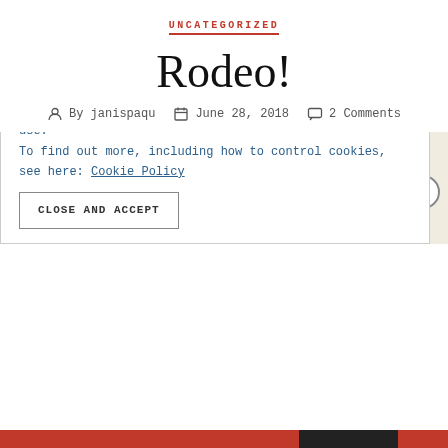UNCATEGORIZED
Rodeo!
By janispaqu   June 28, 2018   2 Comments
I was going to try to drive through
Privacy & Cookies: This site uses cookies. By continuing to use this website, you agree to their use.
To find out more, including how to control cookies, see here: Cookie Policy
CLOSE AND ACCEPT